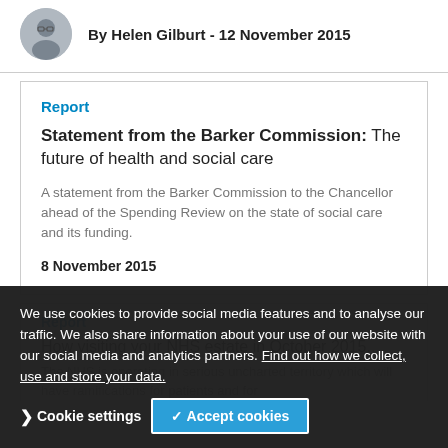By Helen Gilburt - 12 November 2015
Report
Statement from the Barker Commission: The future of health and social care
A statement from the Barker Commission to the Chancellor ahead of the Spending Review on the state of social care and its funding.
8 November 2015
Report
We use cookies to provide social media features and to analyse our traffic. We also share information about your use of our website with our social media and analytics partners. Find out how we collect, use and store your data.